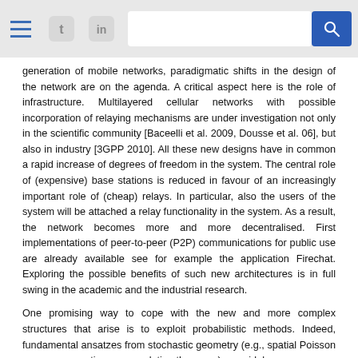[navigation bar with menu, Twitter, LinkedIn icons and search bar]
generation of mobile networks, paradigmatic shifts in the design of the network are on the agenda. A critical aspect here is the role of infrastructure. Multilayered cellular networks with possible incorporation of relaying mechanisms are under investigation not only in the scientific community [Baceelli et al. 2009, Dousse et al. 06], but also in industry [3GPP 2010]. All these new designs have in common a rapid increase of degrees of freedom in the system. The central role of (expensive) base stations is reduced in favour of an increasingly important role of (cheap) relays. In particular, also the users of the system will be attached a relay functionality in the system. As a result, the network becomes more and more decentralised. First implementations of peer-to-peer (P2P) communications for public use are already available see for example the application Firechat. Exploring the possible benefits of such new architectures is in full swing in the academic and the industrial research.
One promising way to cope with the new and more complex structures that arise is to exploit probabilistic methods. Indeed, fundamental ansatzes from stochastic geometry (e.g., spatial Poisson processes, continuum percolation theory, ...) are widely